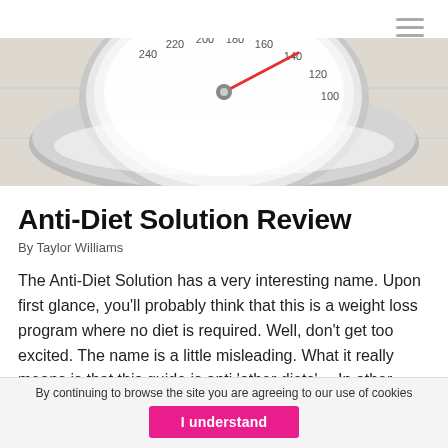[Figure (photo): Close-up of a bathroom weighing scale dial showing numbers from 160 to 240, with the needle pointing near 160-140, on a tiled floor background]
Anti-Diet Solution Review
By Taylor Williams
The Anti-Diet Solution has a very interesting name. Upon first glance, you'll probably think that this is a weight loss program where no diet is required. Well, don't get too excited. The name is a little misleading. What it really means is that this guide is anti 'other diets'… In other words, the Anti-Diet solution [...]
By continuing to browse the site you are agreeing to our use of cookies
I understand